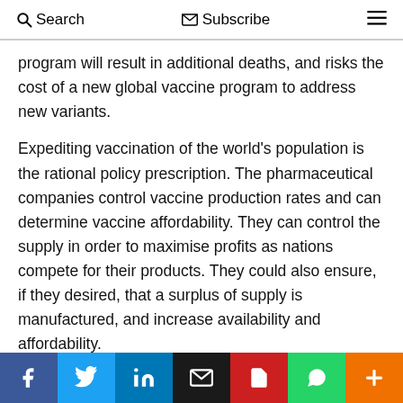Search  Subscribe  ≡
program will result in additional deaths, and risks the cost of a new global vaccine program to address new variants.
Expediting vaccination of the world's population is the rational policy prescription. The pharmaceutical companies control vaccine production rates and can determine vaccine affordability. They can control the supply in order to maximise profits as nations compete for their products. They could also ensure, if they desired, that a surplus of supply is manufactured, and increase availability and affordability.